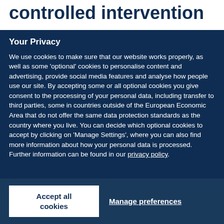controlled intervention
Your Privacy
We use cookies to make sure that our website works properly, as well as some ‘optional’ cookies to personalise content and advertising, provide social media features and analyse how people use our site. By accepting some or all optional cookies you give consent to the processing of your personal data, including transfer to third parties, some in countries outside of the European Economic Area that do not offer the same data protection standards as the country where you live. You can decide which optional cookies to accept by clicking on ‘Manage Settings’, where you can also find more information about how your personal data is processed. Further information can be found in our privacy policy.
Accept all cookies
Manage preferences